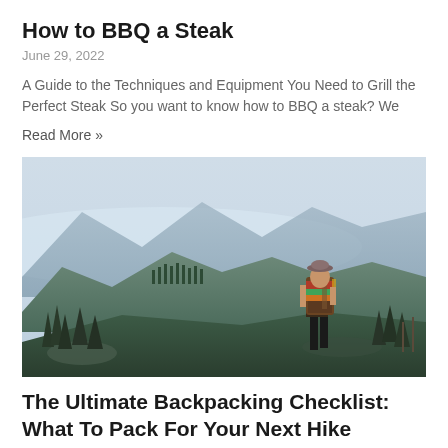How to BBQ a Steak
June 29, 2022
A Guide to the Techniques and Equipment You Need to Grill the Perfect Steak So you want to know how to BBQ a steak? We
Read More »
[Figure (photo): A hiker with a large backpack standing on a rocky overlook, facing away from the camera, looking out at a misty mountain range with pine trees in the foreground.]
The Ultimate Backpacking Checklist: What To Pack For Your Next Hike